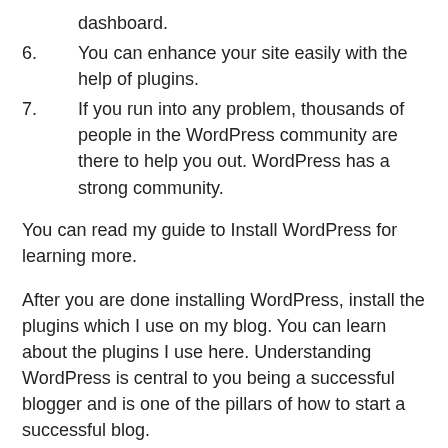dashboard.
6. You can enhance your site easily with the help of plugins.
7. If you run into any problem, thousands of people in the WordPress community are there to help you out. WordPress has a strong community.
You can read my guide to Install WordPress for learning more.
After you are done installing WordPress, install the plugins which I use on my blog. You can learn about the plugins I use here. Understanding WordPress is central to you being a successful blogger and is one of the pillars of how to start a successful blog.